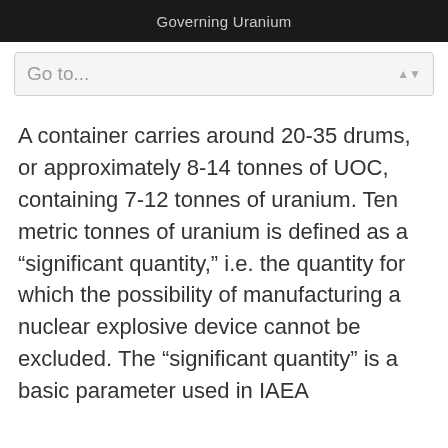Governing Uranium
Go to...
A container carries around 20-35 drums, or approximately 8-14 tonnes of UOC, containing 7-12 tonnes of uranium. Ten metric tonnes of uranium is defined as a “significant quantity,” i.e. the quantity for which the possibility of manufacturing a nuclear explosive device cannot be excluded. The “significant quantity” is a basic parameter used in IAEA